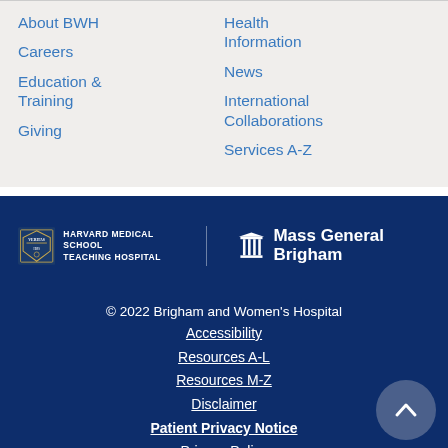About BWH
Careers
Education & Training
Giving
Health Information
News
International Collaborations
Services A-Z
[Figure (logo): Harvard Medical School Teaching Hospital shield logo with text]
[Figure (logo): Mass General Brigham logo with building icon]
© 2022 Brigham and Women's Hospital
Accessibility
Resources A-L
Resources M-Z
Disclaimer
Patient Privacy Notice
Privacy Policy